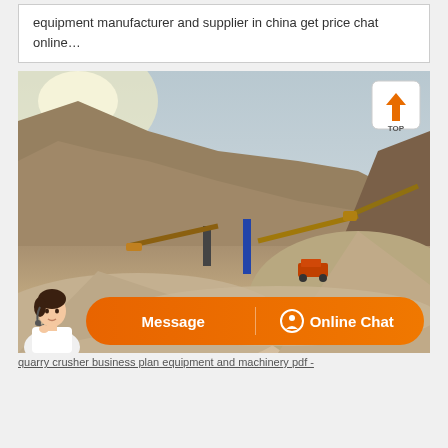equipment manufacturer and supplier in china get price chat online…
[Figure (photo): Outdoor quarry/mining site with large gravel/stone piles, heavy crushing and conveyor equipment in the middle distance, steep rocky hillside in the background under a hazy sky.]
Message   Online Chat
quarry crusher business plan equipment and machinery pdf -